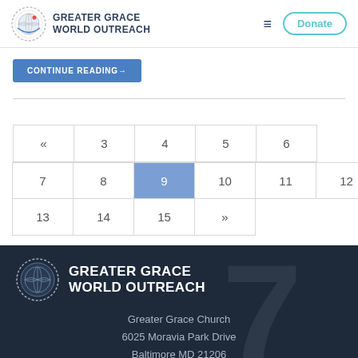GREATER GRACE WORLD OUTREACH
CONTINUE READING→
Pagination: « 3 4 5 6 7 8 9 10 11 12 13 14 15 »
[Figure (logo): Greater Grace World Outreach logo with globe icon, white on dark background]
Greater Grace Church
6025 Moravia Park Drive
Baltimore MD 21206